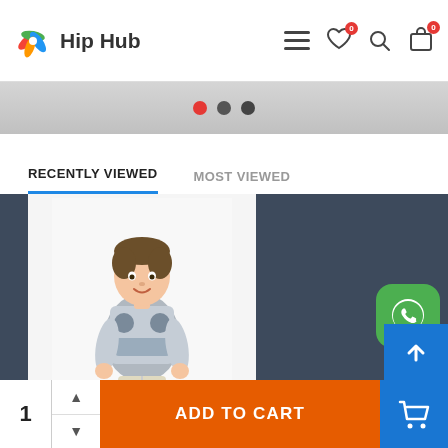Hip Hub
[Figure (screenshot): Slider navigation dots: red dot, dark dot, dark dot]
RECENTLY VIEWED | MOST VIEWED
[Figure (photo): Boy wearing a cars-themed graphic t-shirt and beige shorts]
RALPHIE HOVER CARS
[Figure (logo): WhatsApp icon button]
ADD TO CART
1